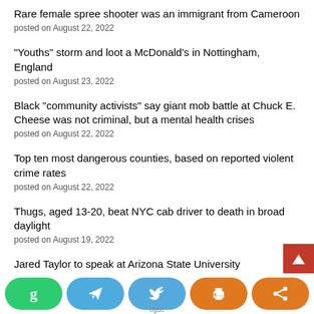Rare female spree shooter was an immigrant from Cameroon
posted on August 22, 2022
“Youths” storm and loot a McDonald’s in Nottingham, England
posted on August 23, 2022
Black “community activists” say giant mob battle at Chuck E. Cheese was not criminal, but a mental health crises
posted on August 22, 2022
Top ten most dangerous counties, based on reported violent crime rates
posted on August 22, 2022
Thugs, aged 13-20, beat NYC cab driver to death in broad daylight
posted on August 19, 2022
Jared Taylor to speak at Arizona State University
posted on August 23, 2022
[Figure (infographic): Social sharing toolbar with green G button, blue Telegram button, blue Twitter button, orange print button, and orange share button. Also a red back-to-top arrow button.]